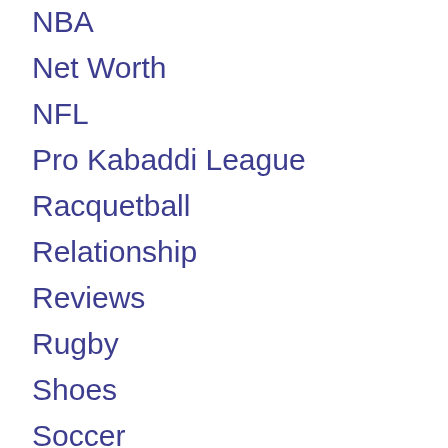NBA
Net Worth
NFL
Pro Kabaddi League
Racquetball
Relationship
Reviews
Rugby
Shoes
Soccer
Tennis
Uncategorized
WWE
Yoga